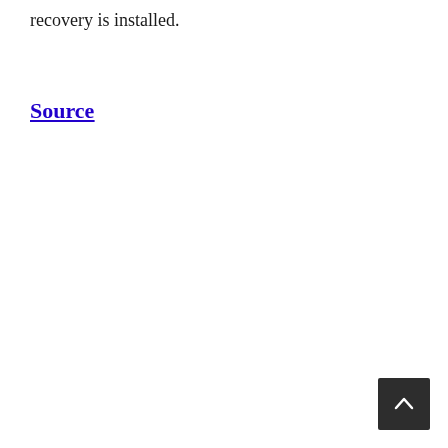recovery is installed.
Source
[Figure (other): Back to top button - dark square button with upward chevron arrow in white]